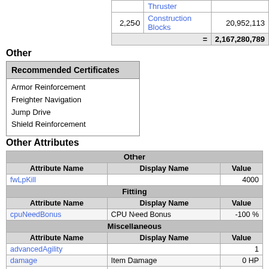|  | Item | Value |
| --- | --- | --- |
|  | Thruster |  |
| 2,250 | Construction Blocks | 20,952,113 |
|  | = | 2,167,280,789 |
Other
| Recommended Certificates |
| --- |
| Armor Reinforcement |
| Freighter Navigation |
| Jump Drive |
| Shield Reinforcement |
Other Attributes
| Attribute Name | Display Name | Value |
| --- | --- | --- |
| [Other] |  |  |
| fwLpKill |  | 4000 |
| [Fitting] |  |  |
| cpuNeedBonus | CPU Need Bonus | -100 % |
| [Miscellaneous] |  |  |
| advancedAgility |  | 1 |
| damage | Item Damage | 0 HP |
| heatAttenuationHi | Heat Attenuation | 0 |
| heatAttenuationLow |  | 0.5 |
| heatAttenuationMed |  | 0 |
| iOrbitlSig... | Orbital Signal Vessel... | T... |